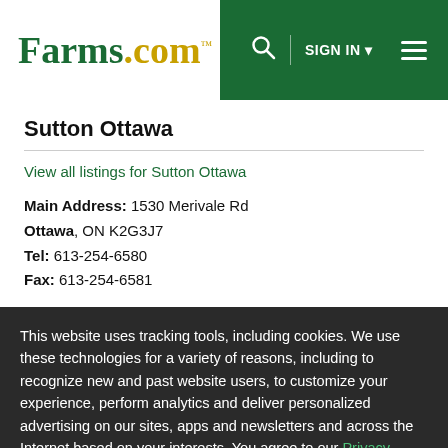Farms.com — SIGN IN
Sutton Ottawa
View all listings for Sutton Ottawa
Main Address: 1530 Merivale Rd
Ottawa, ON K2G3J7
Tel: 613-254-6580
Fax: 613-254-6581
This website uses tracking tools, including cookies. We use these technologies for a variety of reasons, including to recognize new and past website users, to customize your experience, perform analytics and deliver personalized advertising on our sites, apps and newsletters and across the Internet based on your interests. You agree to our Privacy Policy and Terms of Access by clicking I agree.
I agree  Close